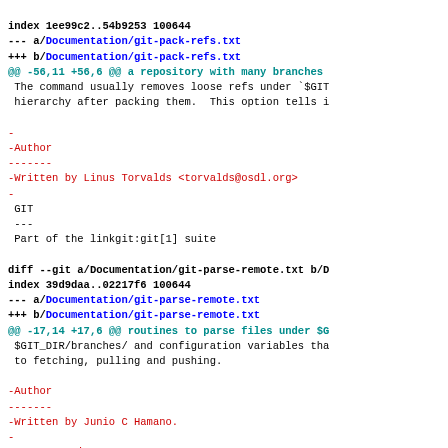index 1ee99c2..54b9253 100644
--- a/Documentation/git-pack-refs.txt
+++ b/Documentation/git-pack-refs.txt
@@ -56,11 +56,6 @@ a repository with many branches
The command usually removes loose refs under `$GIT
hierarchy after packing them.  This option tells i
-
-Author
-------
-Written by Linus Torvalds <torvalds@osdl.org>
-
GIT
---
Part of the linkgit:git[1] suite
diff --git a/Documentation/git-parse-remote.txt b/D
index 39d9daa..02217f6 100644
--- a/Documentation/git-parse-remote.txt
+++ b/Documentation/git-parse-remote.txt
@@ -17,14 +17,6 @@ routines to parse files under $G
$GIT_DIR/branches/ and configuration variables tha
to fetching, pulling and pushing.
-Author
-------
-Written by Junio C Hamano.
-
-Documentation
----------------
-Documentation by Junio C Hamano with help from...